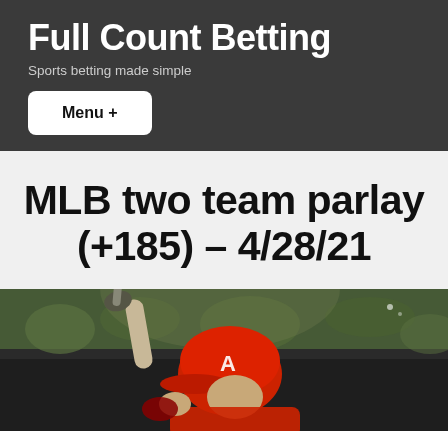Full Count Betting
Sports betting made simple
Menu +
MLB two team parlay (+185) – 4/28/21
[Figure (photo): Baseball player wearing a red Los Angeles Angels helmet celebrating, pointing finger upward, with a crowd in the background]